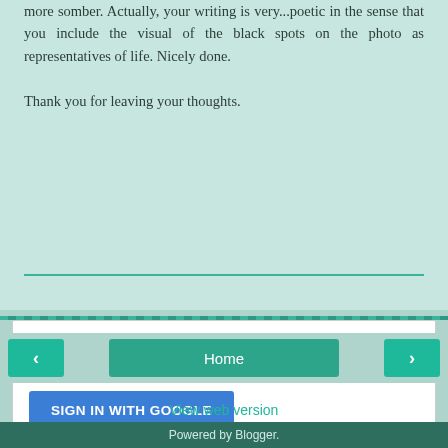more somber. Actually, your writing is very...poetic in the sense that you include the visual of the black spots on the photo as representatives of life. Nicely done.

Thank you for leaving your thoughts.
Reply
To leave a comment, click the button below to sign in with Google.
SIGN IN WITH GOOGLE
Home
View web version
Powered by Blogger.